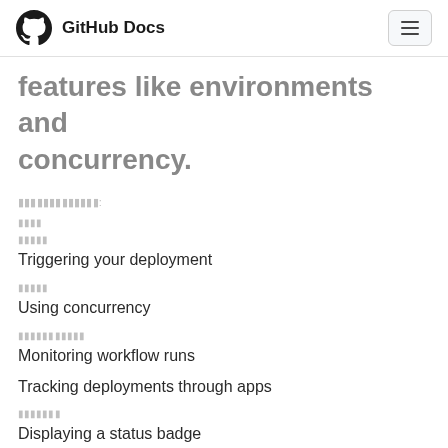GitHub Docs
features like environments and concurrency.
■■■■■■■■■■■■■:
■■■■
■■■■■
Triggering your deployment
■■■■■
Using concurrency
■■■■■■■■■■■
Monitoring workflow runs
Tracking deployments through apps
■■■■■■■
Displaying a status badge